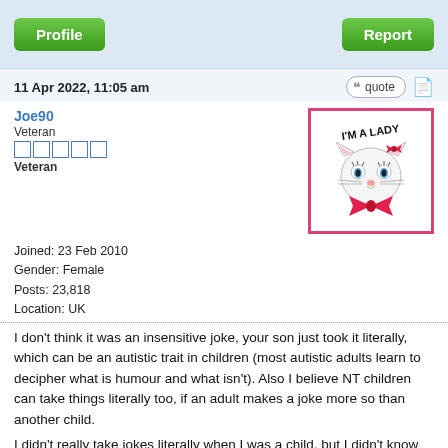[Figure (screenshot): Forum post header with Profile and Report green buttons on light blue background]
11 Apr 2022, 11:05 am
Joe90
Veteran
Veteran
Joined: 23 Feb 2010
Gender: Female
Posts: 23,818
Location: UK
[Figure (illustration): Avatar image of a cartoon white cat with pink bow and text 'I'M A LADY', bordered in pink]
I don't think it was an insensitive joke, your son just took it literally, which can be an autistic trait in children (most autistic adults learn to decipher what is humour and what isn't). Also I believe NT children can take things literally too, if an adult makes a joke more so than another child.

I didn't really take jokes literally when I was a child, but I didn't know how to take a joke. If other kids made jokes about my name,